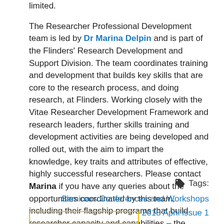limited.
The Researcher Professional Development team is led by Dr Marina Delpin and is part of the Flinders' Research Development and Support Division. The team coordinates training and development that builds key skills that are core to the research process, and doing research, at Flinders. Working closely with the Vitae Researcher Development Framework and research leaders, further skills training and development activities are being developed and rolled out, with the aim to impart the knowledge, key traits and attributes of effective, highly successful researchers. Please contact Marina if you have any queries about the opportunities coordinated by this team, including their flagship programs that build researcher capacity and capabilities – the Researcher Mentoring Scheme for ECRs and Building Research Leaders Program for MCRs.
Tags:
Seminars Conferences and Workshops
2018 April issue 1